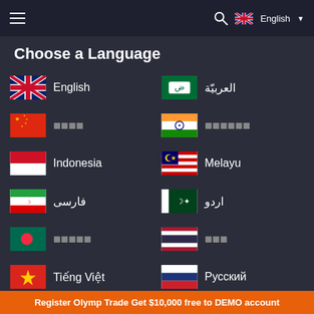English
Choose a Language
English
العربيّة
中文
हिन्दी
Indonesia
Melayu
فارسی
اردو
বাংলা
ภาษาไทย
Tiếng Việt
Русский
Register Olymp Trade Get $10,000 free to DEMO account